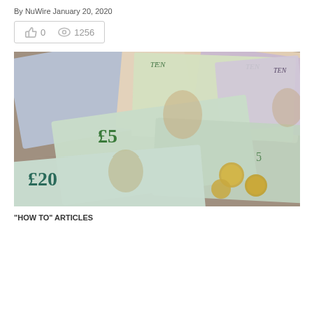By NuWire January 20, 2020
👍 0   👁 1256
[Figure (photo): Pile of British pound banknotes including £5, £10, £20 notes and gold coins]
"HOW TO" ARTICLES